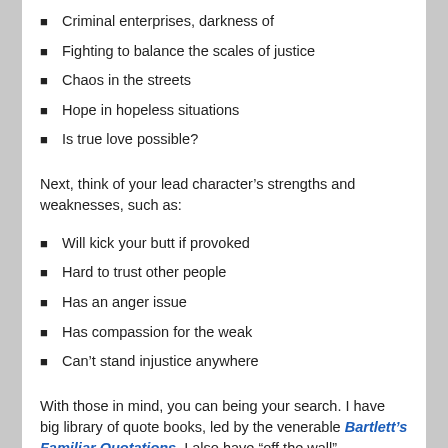Criminal enterprises, darkness of
Fighting to balance the scales of justice
Chaos in the streets
Hope in hopeless situations
Is true love possible?
Next, think of your lead character’s strengths and weaknesses, such as:
Will kick your butt if provoked
Hard to trust other people
Has an anger issue
Has compassion for the weak
Can’t stand injustice anywhere
With those in mind, you can being your search. I have big library of quote books, led by the venerable Bartlett’s Familiar Quotations. I also have “off the wall” collections that provide funny or ironic possibilities. Two of my faves are The Portable Curmudgeon by Jon Wikonur and 1,911 Best Things Anybody Ever Said by Robert Byrne.